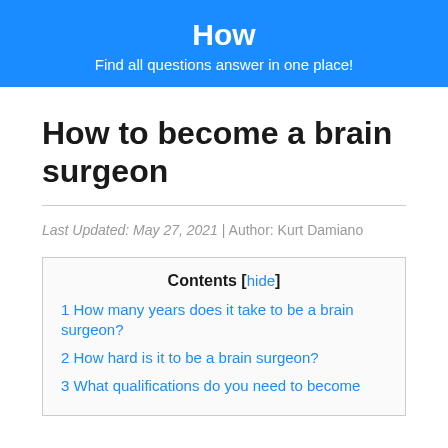How
Find all questions answer in one place!
How to become a brain surgeon
Last Updated: May 27, 2021 | Author: Kurt Damiano
| Contents [hide] |
| --- |
| 1 How many years does it take to be a brain surgeon? |
| 2 How hard is it to be a brain surgeon? |
| 3 What qualifications do you need to become a brain surgeon? |